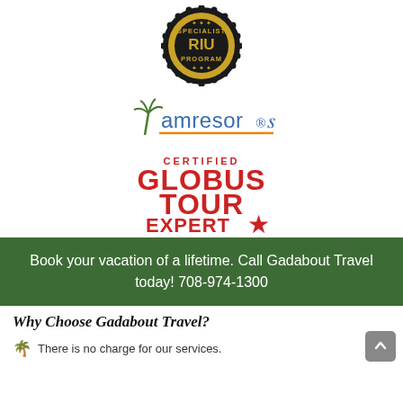[Figure (logo): RIU Specialist Program badge/seal — circular dark badge with gold text reading SPECIALIST RIU PROGRAM]
[Figure (logo): AMResorts logo in blue and orange text with a palm tree graphic and orange underline]
[Figure (logo): Certified Globus Tour Expert logo in red text with a red star]
Book your vacation of a lifetime. Call Gadabout Travel today! 708-974-1300
Why Choose Gadabout Travel?
There is no charge for our services.